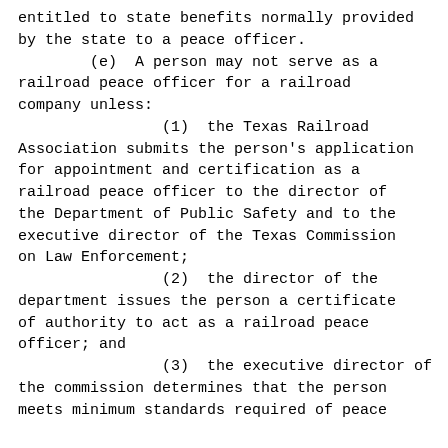entitled to state benefits normally provided by the state to a peace officer.
        (e)  A person may not serve as a railroad peace officer for a railroad company unless:
                (1)  the Texas Railroad Association submits the person's application for appointment and certification as a railroad peace officer to the director of the Department of Public Safety and to the executive director of the Texas Commission on Law Enforcement;
                (2)  the director of the department issues the person a certificate of authority to act as a railroad peace officer; and
                (3)  the executive director of the commission determines that the person meets minimum standards required of peace